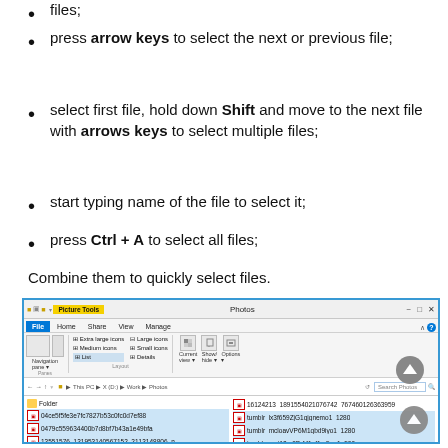files;
press arrow keys to select the next or previous file;
select first file, hold down Shift and move to the next file with arrows keys to select multiple files;
start typing name of the file to select it;
press Ctrl + A to select all files;
Combine them to quickly select files.
[Figure (screenshot): Windows File Explorer window showing Picture Tools ribbon with Photos folder open, displaying image files in a list view with some selected.]